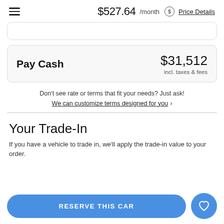$527.64 /month Price Details
Pay Cash  $31,512  incl. taxes & fees
Don't see rate or terms that fit your needs? Just ask!
We can customize terms designed for you ›
Your Trade-In
If you have a vehicle to trade in, we'll apply the trade-in value to your order.
RESERVE THIS CAR